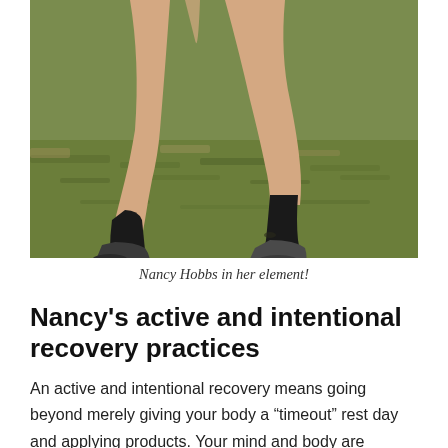[Figure (photo): Close-up photo of a runner's legs in motion on a grassy field, wearing black compression socks and athletic shoes.]
Nancy Hobbs in her element!
Nancy's active and intentional recovery practices
An active and intentional recovery means going beyond merely giving your body a “timeout” rest day and applying products. Your mind and body are partners in this process, working together in a very